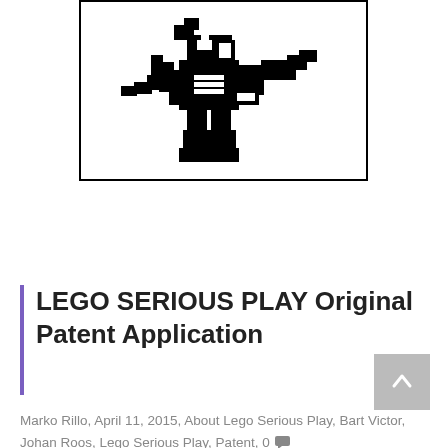[Figure (illustration): Black and white line drawing of a LEGO construction/robot figure, shown in a rectangular bordered frame. The figure appears to be a complex LEGO build with mechanical parts.]
LEGO SERIOUS PLAY Original Patent Application
Marko Rillo, April 11, 2015, About Lego Serious Play, Bart Victor, Johan Roos, Lego Serious Play, Patent, 0